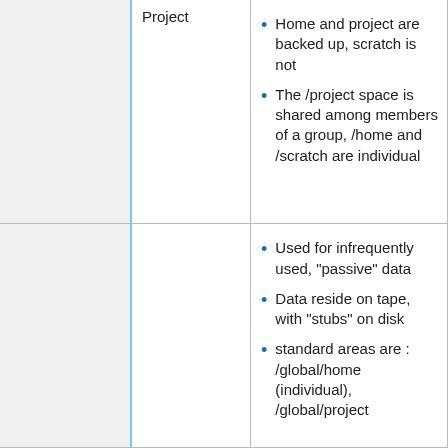|  |  |  |
| --- | --- | --- |
|  | Project | Home and project are backed up, scratch is not
The /project space is shared among members of a group, /home and /scratch are individual |
|  |  | Used for infrequently used, "passive" data
Data reside on tape, with "stubs" on disk
standard areas are : /global/home (individual), /global/project |